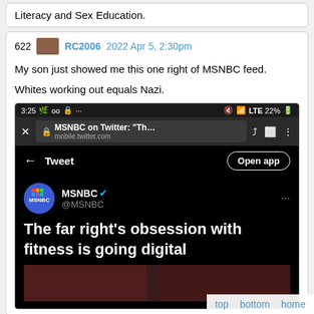Literacy and Sex Education.
622   RC2006   2022 Apr 5, 2:30pm
My son just showed me this one right of MSNBC feed.
Whites working out equals Nazi.
[Figure (screenshot): Screenshot of a mobile browser showing a Twitter/MSNBC tweet page. The browser shows 'MSNBC on Twitter: Th...' at mobile.twitter.com. The tweet is from MSNBC @MSNBC with headline 'The far right's obsession with fitness is going digital'. Below is a partial image strip.]
top   bottom   home